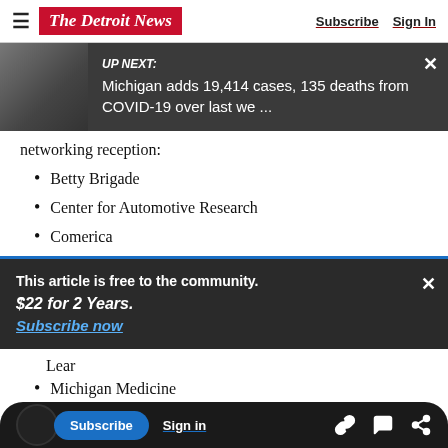The Detroit News — Subscribe | Sign In
[Figure (screenshot): UP NEXT banner with photo: Michigan adds 19,414 cases, 135 deaths from COVID-19 over last we ...]
networking reception:
Betty Brigade
Center for Automotive Research
Comerica
This article is free to the community.
$22 for 2 Years.
Subscribe now
Lear
Michigan Medicine